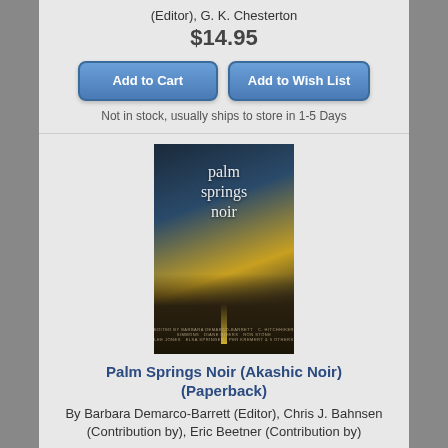(Editor), G. K. Chesterton
$14.95
Add to Cart
Add to Wish List
Not in stock, usually ships to store in 1-5 Days
[Figure (photo): Book cover of Palm Springs Noir showing palm trees and a road at dusk]
Palm Springs Noir (Akashic Noir) (Paperback)
By Barbara Demarco-Barrett (Editor), Chris J. Bahnsen (Contribution by), Eric Beetner (Contribution by)
$16.95
Add to Cart
Add to Wish List
Not in stock, usually ships to store in 1-5 Days